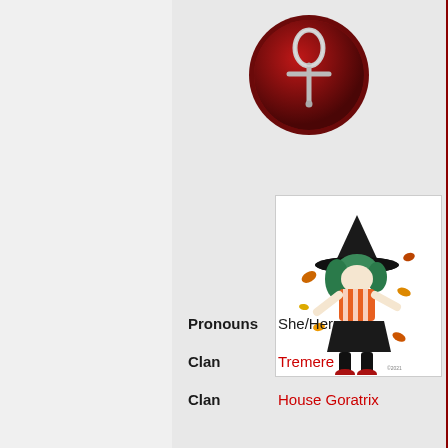[Figure (illustration): Dark red circular clan symbol (Tremere ankh) on a deep crimson background, metallic silver ankh cross design]
[Figure (illustration): Colorful anime-style illustration of a witch character wearing a black wide-brimmed hat, orange and white striped top, black skirt, with green hair, surrounded by falling autumn leaves]
| Field | Value |
| --- | --- |
| Pronouns | She/Her |
| Clan | Tremere |
| Clan | House Goratrix |